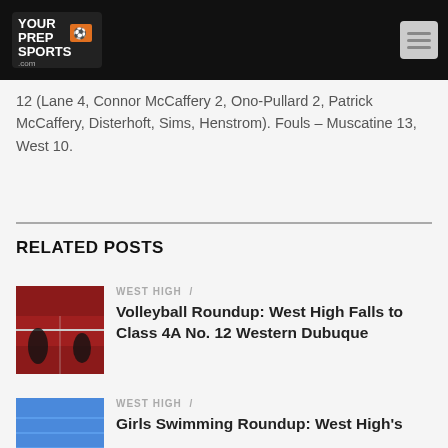YourPrepSports.com
12 (Lane 4, Connor McCaffery 2, Ono-Pullard 2, Patrick McCaffery, Disterhoft, Sims, Henstrom). Fouls – Muscatine 13, West 10.
RELATED POSTS
WEST HIGH /
Volleyball Roundup: West High Falls to Class 4A No. 12 Western Dubuque
WEST HIGH /
Girls Swimming Roundup: West High's